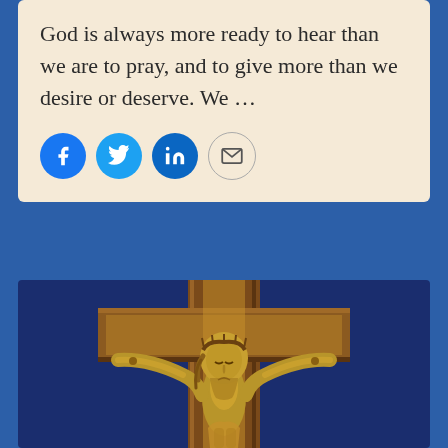God is always more ready to hear than we are to pray, and to give more than we desire or deserve. We …
[Figure (screenshot): Social sharing icons: Facebook (blue circle), Twitter (blue circle), LinkedIn (blue circle), Email (envelope in circle)]
[Figure (photo): Close-up photograph of a golden crucifix figure of Jesus Christ on a wooden cross with a blue background]